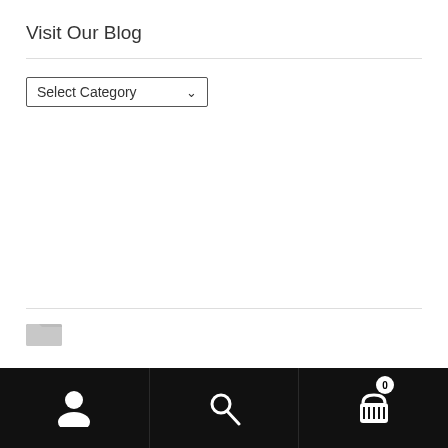Visit Our Blog
[Figure (screenshot): A dropdown selector labeled 'Select Category' with a down arrow, shown as a bordered box UI element]
[Figure (illustration): Small folder icon graphic in light gray]
Bottom navigation bar with user icon, search icon, and shopping cart icon with badge showing 0